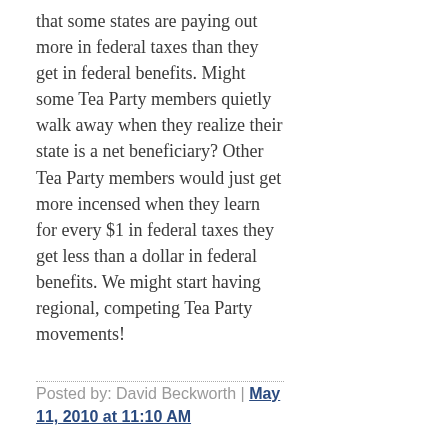that some states are paying out more in federal taxes than they get in federal benefits. Might some Tea Party members quietly walk away when they realize their state is a net beneficiary? Other Tea Party members would just get more incensed when they learn for every $1 in federal taxes they get less than a dollar in federal benefits. We might start having regional, competing Tea Party movements!
Posted by: David Beckworth | May 11, 2010 at 11:10 AM